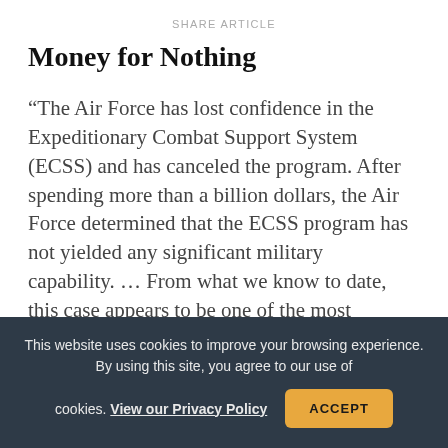SHARE ARTICLE
Money for Nothing
“The Air Force has lost confidence in the Expeditionary Combat Support System (ECSS) and has canceled the program. After spending more than a billion dollars, the Air Force determined that the ECSS program has not yielded any significant military capability. … From what we know to date, this case appears to be one of the most egregious examples of mismanagement in
This website uses cookies to improve your browsing experience. By using this site, you agree to our use of cookies. View our Privacy Policy
ACCEPT